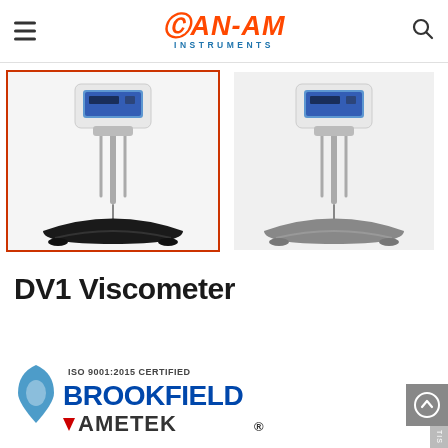CAN-AM INSTRUMENTS
[Figure (photo): Two DV1 Viscometer product photos side by side. Left image is selected (orange border), showing viscometer with black base. Right image shows viscometer with grey base.]
DV1 Viscometer
[Figure (logo): Brookfield AMETEK logo with ISO 9001:2015 CERTIFIED text and water drop icon]